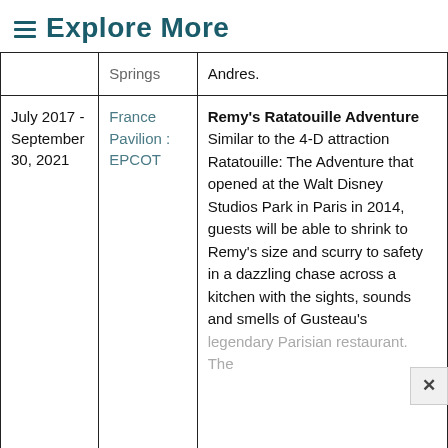≡ Explore More
|  | Springs | Andres. |
| --- | --- | --- |
| July 2017 - September 30, 2021 | France Pavilion : EPCOT | Remy's Ratatouille Adventure Similar to the 4-D attraction Ratatouille: The Adventure that opened at the Walt Disney Studios Park in Paris in 2014, guests will be able to shrink to Remy's size and scurry to safety in a dazzling chase across a kitchen with the sights, sounds and smells of Gusteau's legendary Parisian restaurant. The |